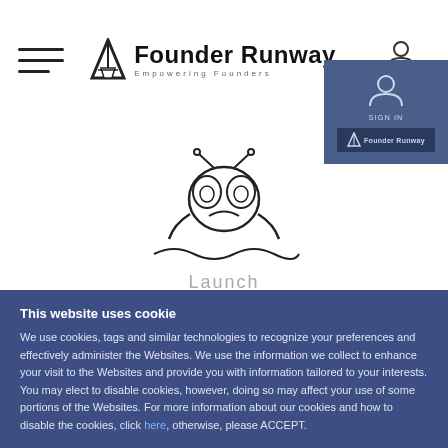Founder Runway — Empowering Founders
[Figure (illustration): Stressed/worried cartoon character icon (bug-eyed person with hands on face)]
Launch
This website uses cookie
We use cookies, tags and similar technologies to recognize your preferences and effectively administer the Websites. We use the information we collect to enhance your visit to the Websites and provide you with information tailored to your interests. You may elect to disable cookies, however, doing so may affect your use of some portions of the Websites. For more information about our cookies and how to disable the cookies, click here, otherwise, please ACCEPT.
ACCEPT